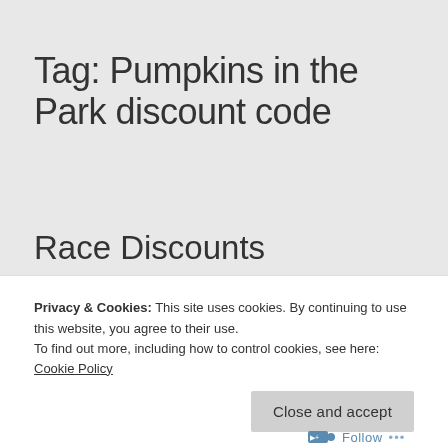Tag: Pumpkins in the Park discount code
Race Discounts
[Figure (photo): Partial photo of a person outdoors, showing their torso/hands, with a blue sky in the background — appears to be a race or outdoor event setting]
Privacy & Cookies: This site uses cookies. By continuing to use this website, you agree to their use.
To find out more, including how to control cookies, see here: Cookie Policy
Close and accept